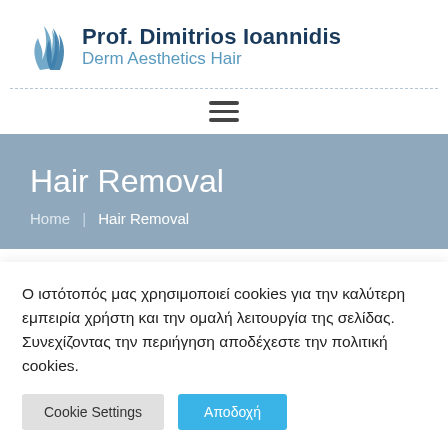[Figure (logo): Prof. Dimitrios Ioannidis Derm Aesthetics Hair logo with blue flame/wave icon]
Hair Removal
Home | Hair Removal
Ο ιστότοπός μας χρησιμοποιεί cookies για την καλύτερη εμπειρία χρήστη και την ομαλή λειτουργία της σελίδας. Συνεχίζοντας την περιήγηση αποδέχεστε την πολιτική cookies.
Cookie Settings | Αποδοχή